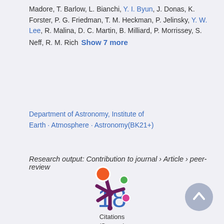Madore, T. Barlow, L. Bianchi, Y. I. Byun, J. Donas, K. Forster, P. G. Friedman, T. M. Heckman, P. Jelinsky, Y. W. Lee, R. Malina, D. C. Martin, B. Milliard, P. Morrissey, S. Neff, R. M. Rich   Show 7 more
Department of Astronomy, Institute of Earth · Atmosphere · Astronomy(BK21+)
Research output: Contribution to journal › Article › peer-review
18
Citations
(Scopus)
[Figure (logo): Altmetric logo — a colorful asterisk-like shape with orange, green, magenta, and purple circles]
[Figure (other): Scroll-to-top button — a blue-grey circle with a white upward chevron arrow]